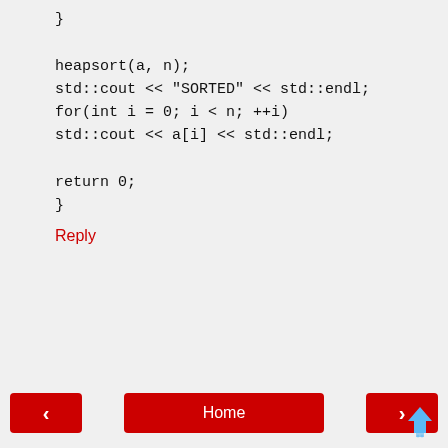};
heapsort(a, n);
std::cout << "SORTED" << std::endl;
for(int i = 0; i < n; ++i)
std::cout << a[i] << std::endl;

return 0;
}
Reply
< Home > View web version